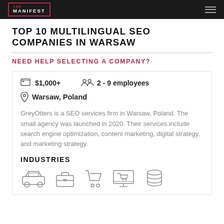THE MANIFEST
TOP 10 MULTILINGUAL SEO COMPANIES IN WARSAW
NEED HELP SELECTING A COMPANY?
$1,000+   2 - 9 employees   Warsaw, Poland
GreyOtters is a SEO services firm in Warsaw, Poland. The small agency was launched in 2020. Their services include search engine optimization, content marketing, digital strategy, and marketing strategy.
INDUSTRIES
[Figure (illustration): Five industry icons: automobile/car, briefcase/tools, shopping cart, computer monitor with cart, stack of coins]